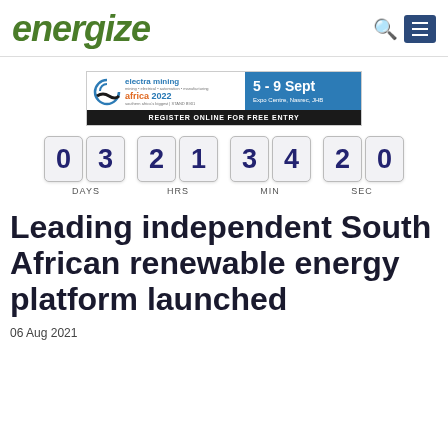energize
[Figure (infographic): Electra Mining Africa 2022 banner ad. 5 - 9 Sept, Expo Centre, Nasrec, JHB. Register online for free entry.]
[Figure (infographic): Countdown timer showing 03 days 21 hours 34 minutes 20 seconds]
Leading independent South African renewable energy platform launched
06 Aug 2021